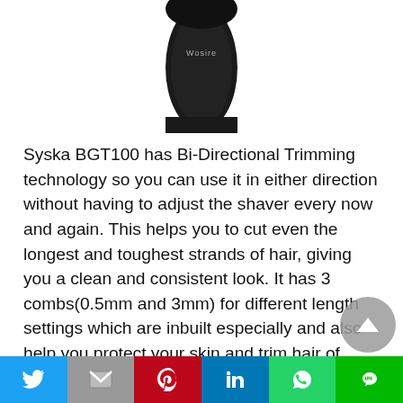[Figure (photo): Top portion of a black Syska BGT100 body groomer/trimmer product, showing the handle with the brand name visible]
Syska BGT100 has Bi-Directional Trimming technology so you can use it in either direction without having to adjust the shaver every now and again. This helps you to cut even the longest and toughest strands of hair, giving you a clean and consistent look. It has 3 combs(0.5mm and 3mm) for different length settings which are inbuilt especially and also help you protect your skin and trim hair of different lengths without any hassles. It's very gentle, especially, in sensitive areas so
[Figure (other): Social media share bar with icons for Twitter, Gmail/Email, Pinterest, LinkedIn, WhatsApp, and LINE]